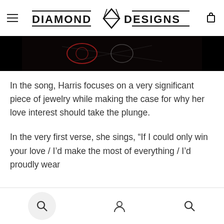DIAMOND DESIGNS
[Figure (photo): Partial dark/black image strip visible at top of content area, appears to show decorative or music-related imagery with red and white elements on black background]
In the song, Harris focuses on a very significant piece of jewelry while making the case for why her love interest should take the plunge.
In the very first verse, she sings, “If I could only win your love / I’d make the most of everything / I’d proudly wear
Search | Account | Search